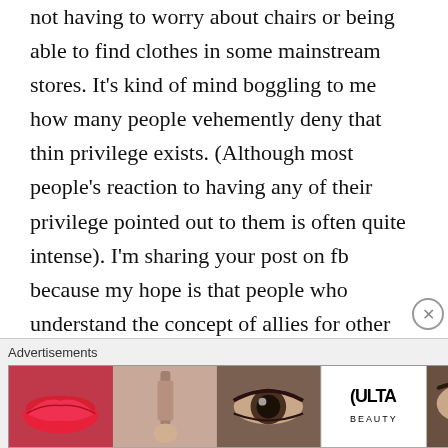not having to worry about chairs or being able to find clothes in some mainstream stores. It's kind of mind boggling to me how many people vehemently deny that thin privilege exists. (Although most people's reaction to having any of their privilege pointed out to them is often quite intense). I'm sharing your post on fb because my hope is that people who understand the concept of allies for other oppressed groups will read it and realize that fat people need allies too.
I may not be able to relate to all of of your experiences, but I wanted to say that I see it, and
Advertisements
[Figure (photo): Advertisement banner for Ulta Beauty featuring close-up photos of lips with red lipstick, makeup brush, eye with dramatic eye makeup, Ulta Beauty logo, close-up of eyes, and a SHOP NOW call to action.]